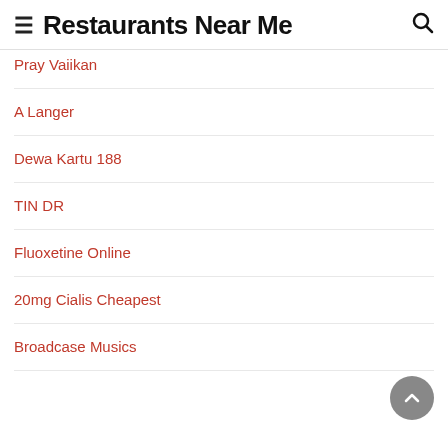Restaurants Near Me
Pray Vaiikan
A Langer
Dewa Kartu 188
TIN DR
Fluoxetine Online
20mg Cialis Cheapest
Broadcase Musics